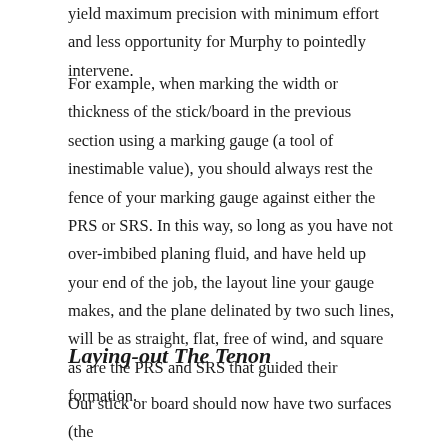yield maximum precision with minimum effort and less opportunity for Murphy to pointedly intervene.
For example, when marking the width or thickness of the stick/board in the previous section using a marking gauge (a tool of inestimable value), you should always rest the fence of your marking gauge against either the PRS or SRS. In this way, so long as you have not over-imbibed planing fluid, and have held up your end of the job, the layout line your gauge makes, and the plane delinated by two such lines, will be as straight, flat, free of wind, and square as are the PRS and SRS that guided their formation.
Laying-out The Tenon
Our stick or board should now have two surfaces (the